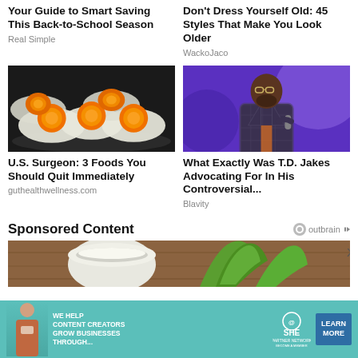Your Guide to Smart Saving This Back-to-School Season
Real Simple
Don't Dress Yourself Old: 45 Styles That Make You Look Older
WackoJaco
[Figure (photo): Fried eggs cooking in a pan, showing multiple orange yolks]
[Figure (photo): A man in a plaid suit jacket speaking into a microphone on a purple-lit stage]
U.S. Surgeon: 3 Foods You Should Quit Immediately
guthealthwellness.com
What Exactly Was T.D. Jakes Advocating For In His Controversial...
Blavity
Sponsored Content
[Figure (logo): Outbrain logo with eye icon]
[Figure (photo): Bottom partial image showing green plant/aloe and white container on wooden surface]
[Figure (infographic): SHE Partner Network ad banner: We help content creators grow businesses through... with Learn More button]